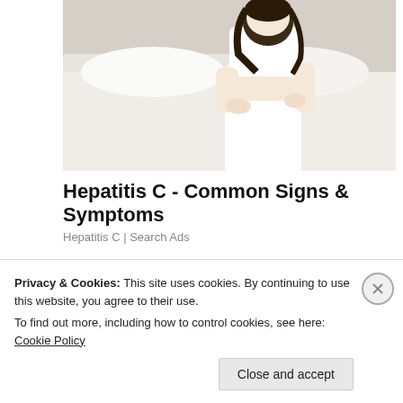[Figure (photo): Photo of a woman sitting on a bed, wearing white clothes, holding her lower back/abdomen area, suggesting pain or discomfort.]
Hepatitis C - Common Signs & Symptoms
Hepatitis C | Search Ads
[Figure (photo): Photo of four restaurant/hotel staff smiling: two chefs in white toques, a man in a dress shirt and tie, and a woman in professional attire.]
Privacy & Cookies: This site uses cookies. By continuing to use this website, you agree to their use.
To find out more, including how to control cookies, see here: Cookie Policy